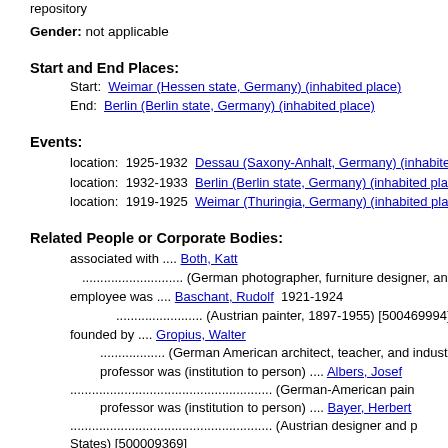repository
Gender: not applicable
Start and End Places:
Start: Weimar (Hessen state, Germany) (inhabited place)
End: Berlin (Berlin state, Germany) (inhabited place)
Events:
location: 1925-1932  Dessau (Saxony-Anhalt, Germany) (inhabited place)
location: 1932-1933  Berlin (Berlin state, Germany) (inhabited place)
location: 1919-1925  Weimar (Thuringia, Germany) (inhabited place)
Related People or Corporate Bodies:
associated with .... Both, Katt
............................ (German photographer, furniture designer, and
employee was .... Baschant, Rudolf  1921-1924
...................... (Austrian painter, 1897-1955) [500469994]
founded by .... Gropius, Walter
.................. (German American architect, teacher, and industria
professor was (institution to person) .... Albers, Josef
........................................................ (German-American pain
professor was (institution to person) .... Bayer, Herbert
........................................................ (Austrian designer and p States) [500009369]
professor was (institution to person) .... Breuer, Marcel
(American Hungarian a